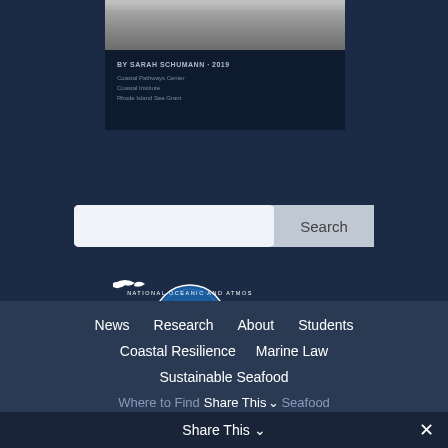[Figure (screenshot): Partial view of a book cover with author text: BY SARAH SCHUMANN · 2019, Coastal Pathways Center, Coastal Institute, Rhode Island Sea Grant]
[Figure (screenshot): Search box with Search button]
[Figure (logo): Sea Grant Rhode Island logo, NOAA circular seal/logo, The University of Rhode Island logo]
News   Research   About   Students   Coastal Resilience   Marine Law   Sustainable Seafood   Where to Find Sustainable Seafood
Share This